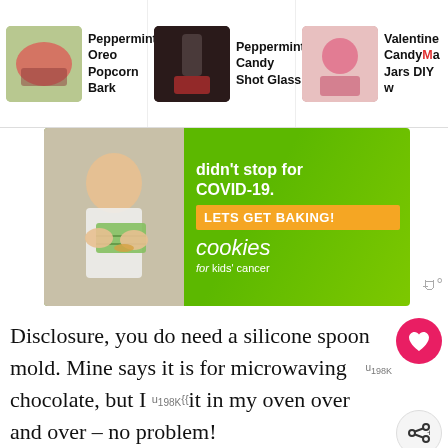[Figure (screenshot): Website navigation strip showing three recipe thumbnails: Peppermint Oreo Popcorn Bark, Peppermint Candy Shot Glass, Valentine Candy Mason Jars DIY]
Peppermint Oreo Popcorn Bark
Peppermint Candy Shot Glass
Valentine Candy Mason Jars DIY w...
[Figure (photo): Advertisement for Cookies for Kids Cancer: green background with child holding money, orange CTA button 'LETS GET BAKING!' and brand logo. Text: didn't stop for COVID-19. LETS GET BAKING! cookies for kids' cancer]
Disclosure, you do need a silicone spoon mold. Mine says it is for microwaving chocolate, but I used it in my oven over and over – no problem!
[Figure (photo): Bottom image showing starlight peppermints candy with text overlay 'Starlight Peppermints' on dark background, with a pink search button overlay]
[Figure (screenshot): Bottom advertisement banner: dark background with Cookies for Kids Cancer logo. Text: turn your COOKIES into a CURE LEARN HOW, with close and Wibbitz icons]